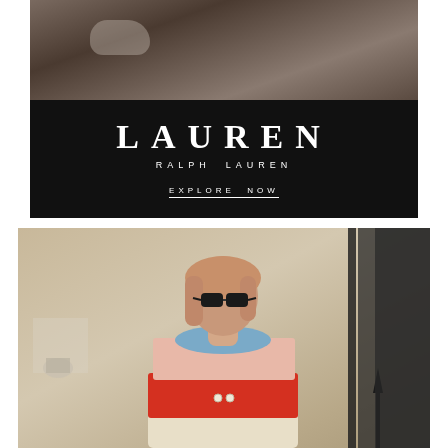[Figure (photo): Top advertisement image showing a dog on a quilted dark blanket/bed with warm tones, above a black panel with Lauren Ralph Lauren branding and Explore Now button]
[Figure (photo): Bottom fashion photo of a woman wearing sunglasses and a colorful striped knit sweater with blue collar, pink and red and cream stripes, standing in front of a classical building exterior with iron railing]